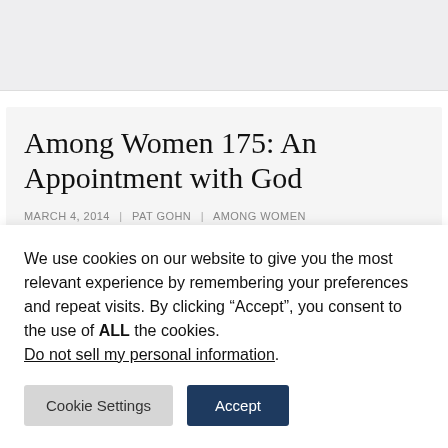[Figure (other): Gray top banner area of a website header]
Among Women 175: An Appointment with God
MARCH 4, 2014 | PAT GOHN | AMONG WOMEN
This week on Among Women, as the liturgical
We use cookies on our website to give you the most relevant experience by remembering your preferences and repeat visits. By clicking “Accept”, you consent to the use of ALL the cookies. Do not sell my personal information.
Cookie Settings    Accept